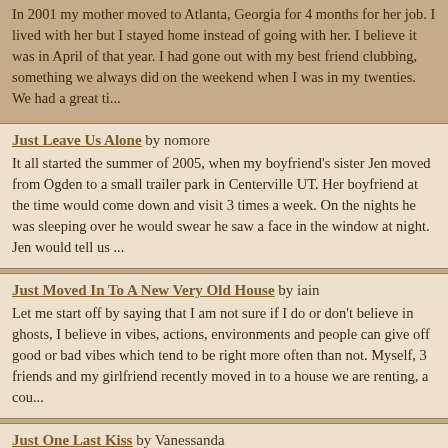In 2001 my mother moved to Atlanta, Georgia for 4 months for her job. I lived with her but I stayed home instead of going with her. I believe it was in April of that year. I had gone out with my best friend clubbing, something we always did on the weekend when I was in my twenties. We had a great ti...
Just Leave Us Alone by nomore
It all started the summer of 2005, when my boyfriend's sister Jen moved from Ogden to a small trailer park in Centerville UT. Her boyfriend at the time would come down and visit 3 times a week. On the nights he was sleeping over he would swear he saw a face in the window at night. Jen would tell us ...
Just Moved In To A New Very Old House by iain
Let me start off by saying that I am not sure if I do or don't believe in ghosts, I believe in vibes, actions, environments and people can give off good or bad vibes which tend to be right more often than not. Myself, 3 friends and my girlfriend recently moved in to a house we are renting, a cou...
Just One Last Kiss by Vanessanda
My mum passed peacefully in her sleep in April 2005. She was the glue that helped keep the family together. She was the most...